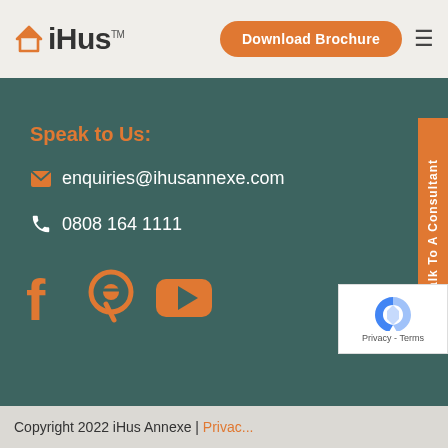iHus™ | Download Brochure
Speak to Us:
enquiries@ihusannexe.com
0808 164 1111
[Figure (logo): Social media icons: Facebook, Pinterest, YouTube in orange]
Talk To A Consultant
[Figure (logo): reCAPTCHA widget with Privacy - Terms text]
Copyright 2022 iHus Annexe | Privacy...